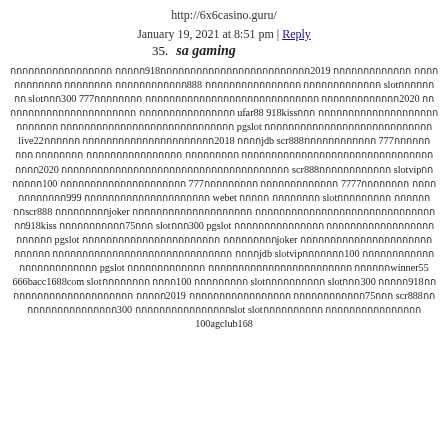http://6x6casino.guru/
January 19, 2021 at 8:51 pm | Reply
35.   sa gaming
กกกกกกกกกกกกกกกกก กกกกก918กกกกกกกกกกกกกกกกกกกกกกกกก2019 กกกกกกกกกกกกก กกกกกกกกกกกก กกกกกกกก กกกกกกกกกกกก888 กกกกกกกกกกกกกกกก กกกกกกกกกกกกก slotกกกกกกกก slotกกก300 777กกกกกกกก กกกกกกกกกกกกกกกกกกกกกกกกกกกกก กกกกกกกกกกกกก2020 กกกกกกกกกกกกกกกกกกกกกกก กกกกกกกกกกกกกกกก ufar88 918kissกกก กกกกกกกกกกกกกกกกกกกกกกกกกกก กกกกกกกกกกกกกกกกกกกกกกกกกกกกก pgslot กกกกกกกกกกกกกกกกกกกกกกกกกกกก live22กกกกกก กกกกกกกกกกกกกกกกกกกกกก2018 กกกกjdb scr888กกกกกกกกกกกก 777กกกกกกกกก กกกกกกกก กกกกกกกกกกกกกกกก กกกกกกกกก กกกกกกกกกกกกกกกกกกกกกกกกกกกกกกกกกกกก2020 กกกกกกกกกกกกกกกกกกกกกกกกกกกกกกกกกกกกกก scr888กกกกกกกกกกกก slotvipกกกกกกก100 กกกกกกกกกกกกกกกกกกกกก 777กกกกกกกกก กกกกกกกกกกกกก 7777กกกกกกกก กกกกกกกกกกกก999 กกกกกกกกกกกกกกกกกกกกก webet กกกกก กกกกกกกก slotกกกกกกกกก กกกกกกกกscr888 กกกกกกกกกjoker กกกกกกกกกกกกกกกกกกกก กกกกกกกกกกกกกกกกกกกกกกกกกกกกกกกก918kiss กกกกกกกกกกก75กกก slotกกก300 pgslot กกกกกกกกกกกกกกก กกกกกกกกกกกกกกกกกกกกกกกก pgslot กกกกกกกกกกกกกกกกกกกกกกก กกกกกกกกกjoker กกกกกกกกกกกกกกกกกกกกกกกกกกกก กกกกกกกกกกกกกกกกกกกกกกกกกกกกกก กกกกjdb slotvipกกกกกกก100 กกกกกกกกกกกกกกกกกกกกกกกกก pgslot กกกกกกกกกกกกก กกกกกกกกกกกกกกกกกกกกกกกก กกกกกกwinner55 666bacc1688com slotกกกกกกกก กกกก100 กกกกกกกกก slotกกกกกกกกกก slotกกก300 กกกกก918กกกกกกกกกกกกกกกกกกกกกก กกกกก2019 กกกกกกกกกกกกกกกกก กกกกกกกกกกกก75กกก scr888กกกกกกกกกกกกกกกกก300 กกกกกกกกกกกกกกกกslot slotกกกกกกกกกก กกกกกกกกกกกกกกกก 100agclub168